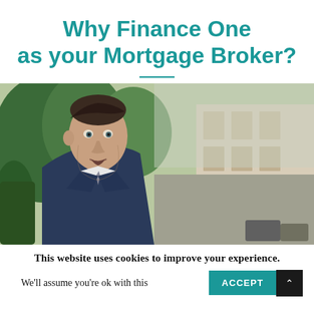Why Finance One as your Mortgage Broker?
[Figure (photo): A man in a blue suit speaking outdoors, with greenery and a building visible in the background. Appears to be a video thumbnail or screenshot.]
This website uses cookies to improve your experience.
We'll assume you're ok with this
ACCEPT